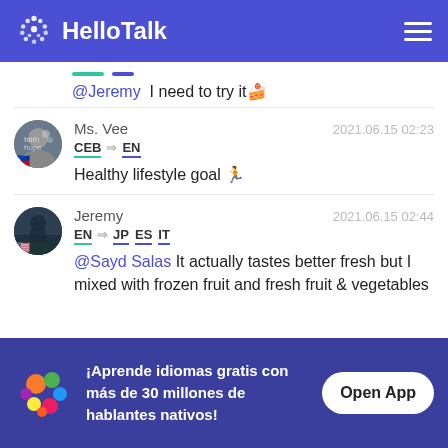[Figure (screenshot): HelloTalk app header bar with logo and hamburger menu]
@Jeremy  I need to try it🍰
Ms. Vee  2021.06.15 02:23
CEB → EN
Healthy lifestyle goal 🏃
Jeremy  2021.06.15 02:44
EN → JP ES IT
@Sayd Salas  It actually tastes better fresh but I mixed with frozen fruit and fresh fruit & vegetables
¡Aprende idiomas gratis con más de 30 millones de hablantes nativos!